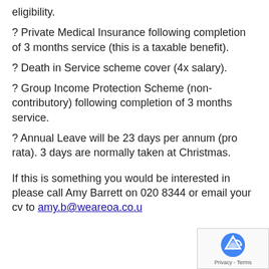eligibility.
? Private Medical Insurance following completion of 3 months service (this is a taxable benefit).
? Death in Service scheme cover (4x salary).
? Group Income Protection Scheme (non-contributory) following completion of 3 months service.
? Annual Leave will be 23 days per annum (pro rata). 3 days are normally taken at Christmas.
If this is something you would be interested in please call Amy Barrett on 020 8344 or email your cv to amy.b@weareoa.co.u